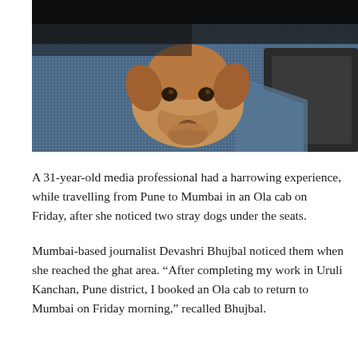[Figure (photo): A stray dog resting on a blue knitted/woven mat under a vehicle seat, photographed from above. The dog's tan and brown face peeks out from beneath the seat with a gray/metal surface visible on the right.]
A 31-year-old media professional had a harrowing experience, while travelling from Pune to Mumbai in an Ola cab on Friday, after she noticed two stray dogs under the seats.
Mumbai-based journalist Devashri Bhujbal noticed them when she reached the ghat area. “After completing my work in Uruli Kanchan, Pune district, I booked an Ola cab to return to Mumbai on Friday morning,” recalled Bhujbal.